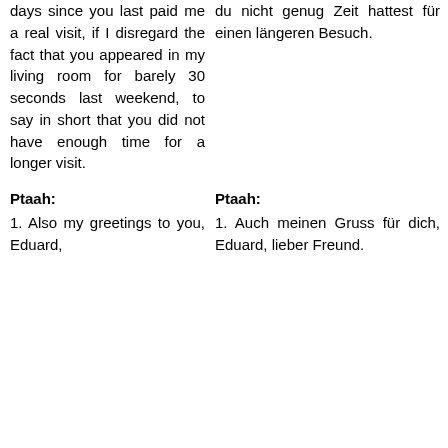days since you last paid me a real visit, if I disregard the fact that you appeared in my living room for barely 30 seconds last weekend, to say in short that you did not have enough time for a longer visit.
du nicht genug Zeit hattest für einen längeren Besuch.
Ptaah:
Ptaah:
1. Also my greetings to you, Eduard,
1. Auch meinen Gruss für dich, Eduard, lieber Freund.